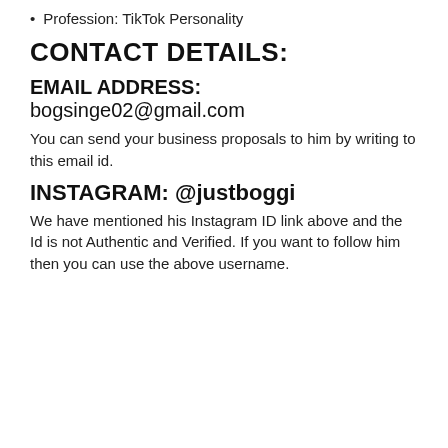Profession: TikTok Personality
CONTACT DETAILS:
EMAIL ADDRESS: bogsinge02@gmail.com
You can send your business proposals to him by writing to this email id.
INSTAGRAM: @justboggi
We have mentioned his Instagram ID link above and the Id is not Authentic and Verified. If you want to follow him then you can use the above username.